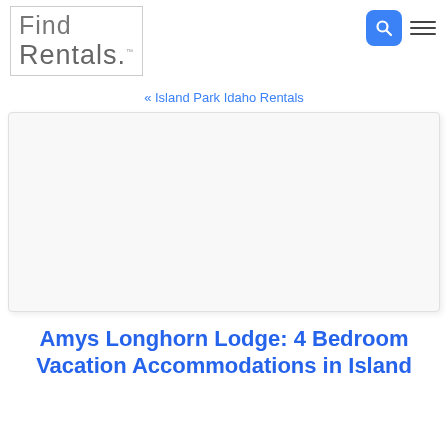Find Rentals
« Island Park Idaho Rentals
[Figure (photo): White/blank image placeholder area for property photo]
Amys Longhorn Lodge: 4 Bedroom Vacation Accommodations in Island